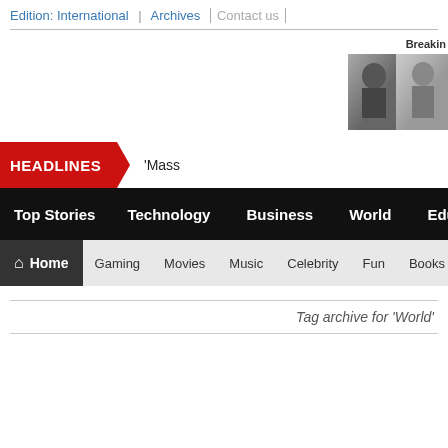Edition: International | Archives | Contact us
[Figure (photo): Breaking news thumbnail photos showing two people]
Breakin
HEADLINES 'Mass
Top Stories | Technology | Business | World | Education
Home | Gaming | Movies | Music | Celebrity | Fun | Books | Foo
Tag archive for 'World'